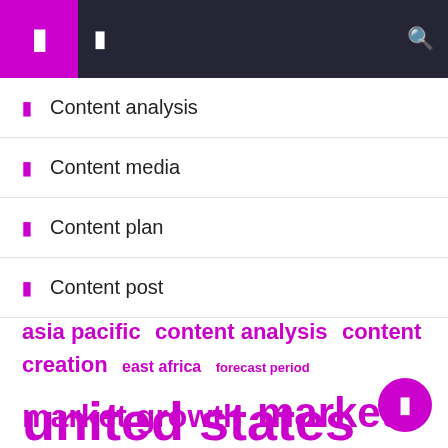Navigation header with menu and search icons
Content analysis
Content media
Content plan
Content post
asia pacific  content analysis  content creation  east africa  forecast period  market growth  market report  market research  market share  market size  middle east  north america  research report  south america  united states